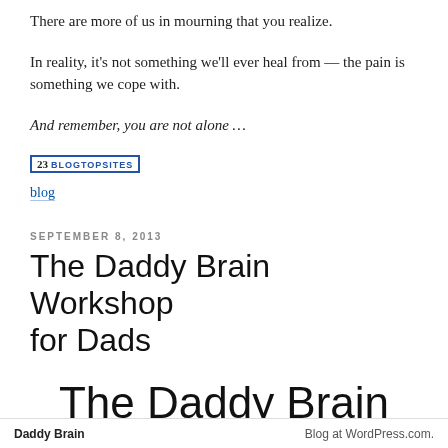There are more of us in mourning that you realize.
In reality, it's not something we'll ever heal from — the pain is something we cope with.
And remember, you are not alone …
[Figure (other): BlogTopSites badge showing number 23]
blog
SEPTEMBER 8, 2013
The Daddy Brain Workshop for Dads
The Daddy Brain
Daddy Brain   Blog at WordPress.com.